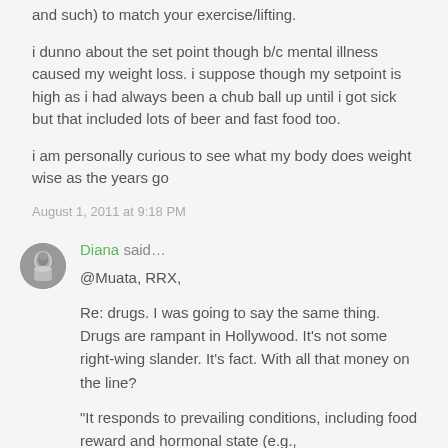and such) to match your exercise/lifting.
i dunno about the set point though b/c mental illness caused my weight loss. i suppose though my setpoint is high as i had always been a chub ball up until i got sick but that included lots of beer and fast food too.
i am personally curious to see what my body does weight wise as the years go
August 1, 2011 at 9:18 PM
Diana said...
@Muata, RRX,
Re: drugs. I was going to say the same thing. Drugs are rampant in Hollywood. It's not some right-wing slander. It's fact. With all that money on the line?
"It responds to prevailing conditions, including food reward and hormonal state (e.g.,